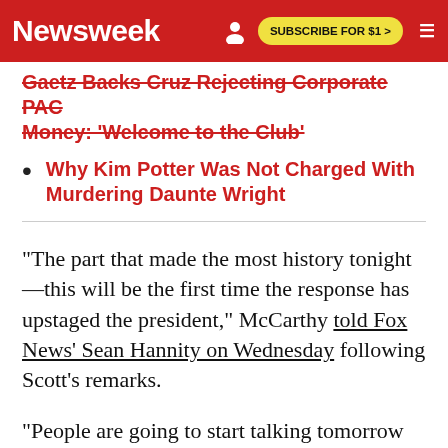Newsweek
Gaetz Backs Cruz Rejecting Corporate PAC Money: 'Welcome to the Club'
Why Kim Potter Was Not Charged With Murdering Daunte Wright
"The part that made the most history tonight—this will be the first time the response has upstaged the president," McCarthy told Fox News' Sean Hannity on Wednesday following Scott's remarks.
"People are going to start talking tomorrow that Tim Scott should be running for president